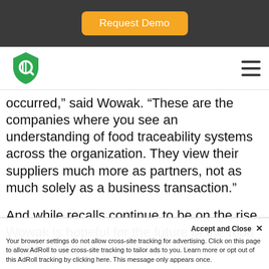Request Demo
[Figure (logo): Green shield logo with Q icon]
occurred,” said Wowak. “These are the companies where you see an understanding of food traceability systems across the organization. They view their suppliers much more as partners, not as much solely as a business transaction.”
And while recalls continue to be on the rise, Wowak is hopeful for the future of the food supply chain.
Accept and Close ×
Your browser settings do not allow cross-site tracking for advertising. Click on this page to allow AdRoll to use cross-site tracking to tailor ads to you. Learn more or opt out of this AdRoll tracking by clicking here. This message only appears once.